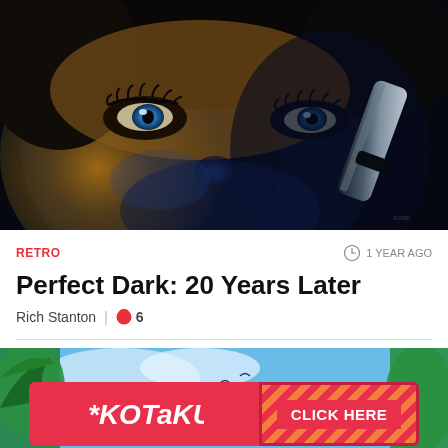[Figure (illustration): Close-up rendered illustration of a female character's face with blue eyes, dramatic lighting (gold/orange on left side, dark blue on right), long eyelashes, and a weapon barrel visible near the right side of the face. Dark moody art style reminiscent of Perfect Dark video game.]
RETRO
1 YEAR AGO
Perfect Dark: 20 Years Later
Rich Stanton  |  6
[Figure (screenshot): Kotaku advertisement banner showing colorful tropical background with Kotaku logo on the left and a 'CLICK HERE' button on the right with diagonal stripe pattern in pink/orange tones.]